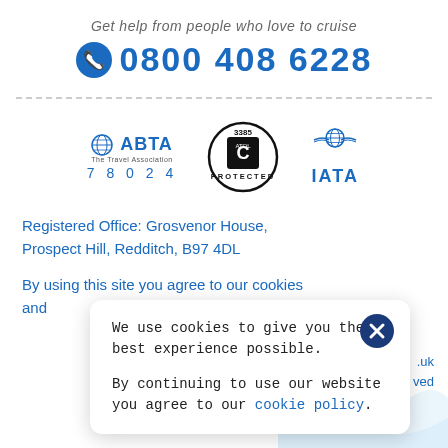Get help from people who love to cruise
0800 408 6228
[Figure (logo): ABTA The Travel Association logo with number 78024, ATOL Protected 3385 circular badge, IATA logo with globe and wings]
Registered Office: Grosvenor House, Prospect Hill, Redditch, B97 4DL
By using this site you agree to our cookies and
We use cookies to give you the best experience possible.

By continuing to use our website you agree to our cookie policy.